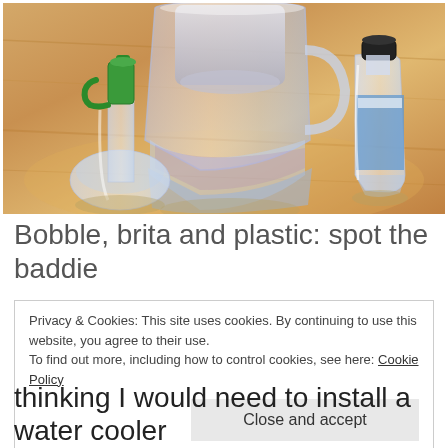[Figure (photo): Photo of three water containers on a wooden table: a Bobble bottle with green pump/filter cap on the left, a large Brita pitcher in the center, and a small plastic water bottle (Volvic or similar) on the right.]
Bobble, brita and plastic: spot the baddie
Privacy & Cookies: This site uses cookies. By continuing to use this website, you agree to their use.
To find out more, including how to control cookies, see here: Cookie Policy
-
thinking I would need to install a water cooler